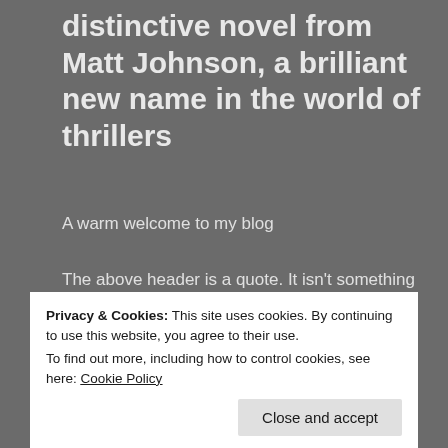distinctive novel from Matt Johnson, a brilliant new name in the world of thrillers
A warm welcome to my blog
The above header is a quote. It isn’t something I would write about my own work, and a couple of years ago, not something I would ever have thought to be written about me. And yet, it was.
[Figure (photo): Partial book cover images visible at bottom of page, partially obscured by cookie banner]
Privacy & Cookies: This site uses cookies. By continuing to use this website, you agree to their use.
To find out more, including how to control cookies, see here: Cookie Policy
Close and accept